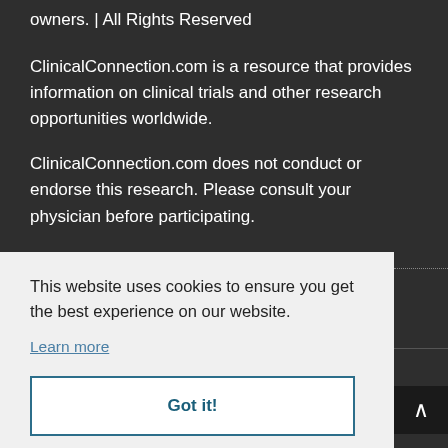owners. | All Rights Reserved
ClinicalConnection.com is a resource that provides information on clinical trials and other research opportunities worldwide.
ClinicalConnection.com does not conduct or endorse this research. Please consult your physician before participating.
This website uses cookies to ensure you get the best experience on our website.
Learn more
Got it!
Clinical Trials: What Will Change in 2021?